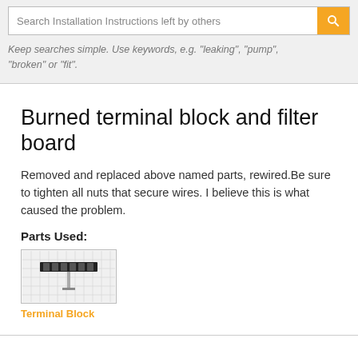Search Installation Instructions left by others
Keep searches simple. Use keywords, e.g. "leaking", "pump", "broken" or "fit".
Burned terminal block and filter board
Removed and replaced above named parts, rewired.Be sure to tighten all nuts that secure wires. I believe this is what caused the problem.
Parts Used:
[Figure (photo): Photo of a Terminal Block part on a grid background]
Terminal Block